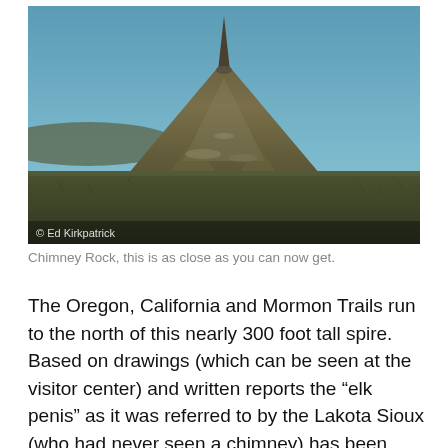[Figure (photo): Photograph of Chimney Rock, a tall narrow spire atop a large conical hill rising from a flat grassy prairie under a blue sky. Photo credit: © Ed Kirkpatrick]
Chimney Rock, this is as close as you can now get.
The Oregon, California and Mormon Trails run to the north of this nearly 300 foot tall spire.  Based on drawings (which can be seen at the visitor center) and written reports the “elk penis” as it was referred to by the Lakota Sioux (who had never seen a chimney) has been eroded a good bit over the years.